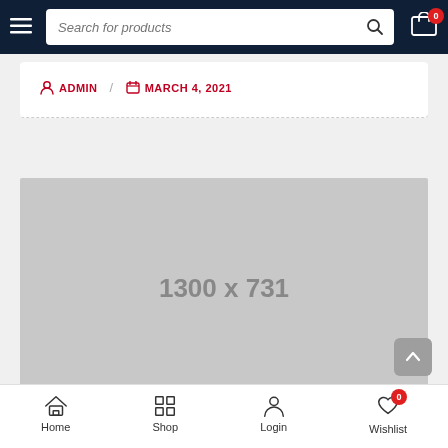[Figure (screenshot): Mobile e-commerce website navigation bar with hamburger menu, search input reading 'Search for products', search icon, and shopping cart icon with badge showing 0]
ADMIN / MARCH 4, 2021
[Figure (other): Placeholder image showing dimensions 1300 x 731 on a gray background]
[Figure (screenshot): Mobile bottom navigation bar with Home, Shop, Login, and Wishlist tabs; Wishlist has badge showing 0]